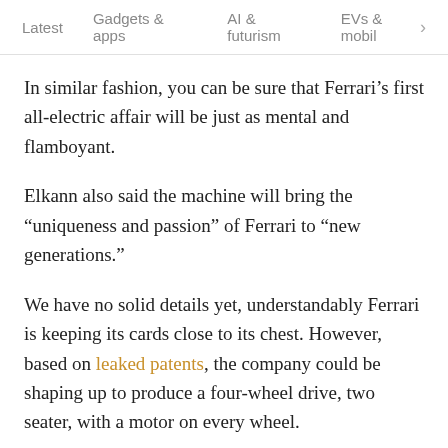Latest   Gadgets & apps   AI & futurism   EVs & mobil  >
In similar fashion, you can be sure that Ferrari’s first all-electric affair will be just as mental and flamboyant.
Elkann also said the machine will bring the “uniqueness and passion” of Ferrari to “new generations.”
We have no solid details yet, understandably Ferrari is keeping its cards close to its chest. However, based on leaked patents, the company could be shaping up to produce a four-wheel drive, two seater, with a motor on every wheel.
But for now, that’s all we have.